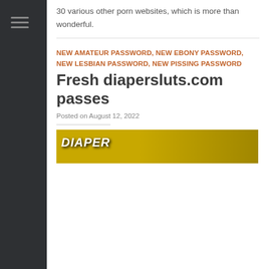30 various other porn websites, which is more than wonderful.
NEW AMATEUR PASSWORD, NEW EBONY PASSWORD, NEW LESBIAN PASSWORD, NEW PISSING PASSWORD
Fresh diapersluts.com passes
Posted on August 12, 2022
[Figure (photo): Thumbnail image showing the word DIAPER with people in the background on a yellow background]